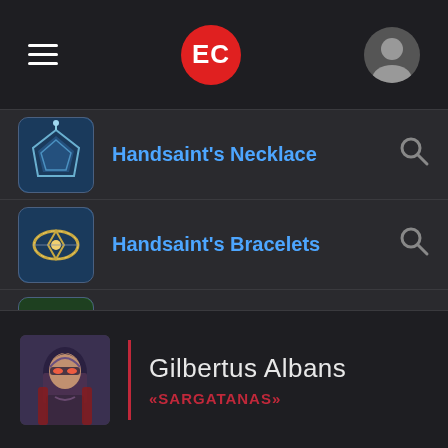EC
Handsaint's Necklace
Handsaint's Bracelets
Handsaint's Ring
Handsaint's Ring
Gilbertus Albans
«SARGATANAS»